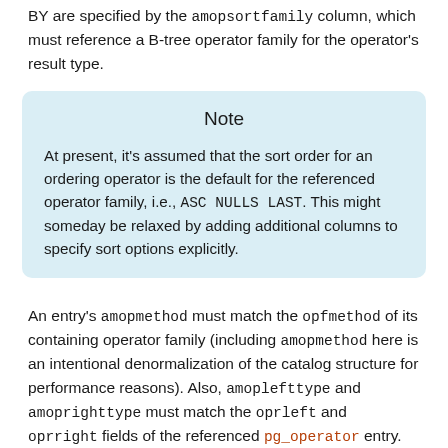BY are specified by the amopsortfamily column, which must reference a B-tree operator family for the operator's result type.
Note
At present, it's assumed that the sort order for an ordering operator is the default for the referenced operator family, i.e., ASC NULLS LAST. This might someday be relaxed by adding additional columns to specify sort options explicitly.
An entry's amopmethod must match the opfmethod of its containing operator family (including amopmethod here is an intentional denormalization of the catalog structure for performance reasons). Also, amoplefttype and amoprighttype must match the oprleft and oprright fields of the referenced pg_operator entry.